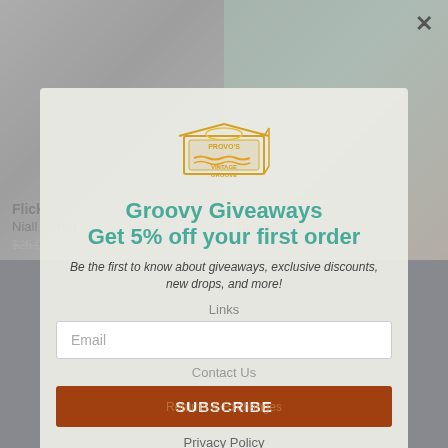[Figure (screenshot): Background website page showing vinyl record products: left side shows Niall Horan 'Flicker' album with prices $25.00 $59.99, right side shows Taylor Swift self-titled album with prices $49.00 $34.99. Dark footer bar visible at bottom.]
[Figure (logo): Provo's Vintage Groove logo - illustrated retro crate/box with orange/yellow line art]
Groovy Giveaways
Get 5% off your first order
Be the first to know about giveaways, exclusive discounts, new drops, and more!
Links
Email
Contact Us
Returns & Exchanges
SUBSCRIBE
Privacy Policy